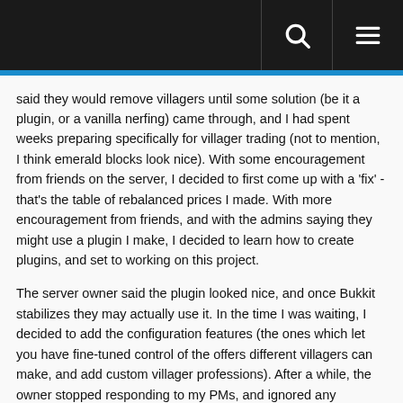[navigation bar with search and menu icons]
said they would remove villagers until some solution (be it a plugin, or a vanilla nerfing) came through, and I had spent weeks preparing specifically for villager trading (not to mention, I think emerald blocks look nice). With some encouragement from friends on the server, I decided to first come up with a 'fix' - that's the table of rebalanced prices I made. With more encouragement from friends, and with the admins saying they might use a plugin I make, I decided to learn how to create plugins, and set to working on this project.
The server owner said the plugin looked nice, and once Bukkit stabilizes they may actually use it. In the time I was waiting, I decided to add the configuration features (the ones which let you have fine-tuned control of the offers different villagers can make, and add custom villager professions). After a while, the owner stopped responding to my PMs, and ignored any discussion of the plugin or villagers ingame. After around a month of waiting, I got sick of feeling ignored, and called the